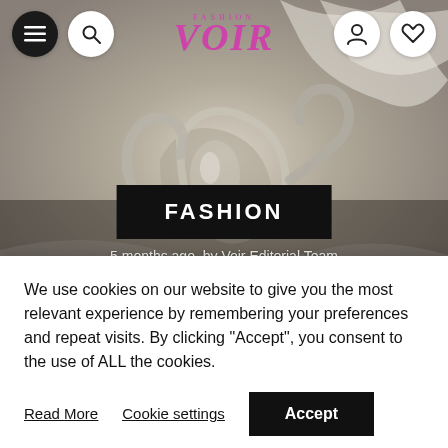[Figure (screenshot): Fashion magazine website header showing VOIR FASHION logo in pink/magenta on white navbar with hamburger menu and search icon on left, user and heart icons on right. Below is a hero image of a glass accessory with swirling translucent forms on a draped white fabric background. A black FASHION badge overlay is centered on the image. Below the image reads '5 months ago, by Voir Editorial Team' and partially visible article title 'This Glass Accessory Is'.]
We use cookies on our website to give you the most relevant experience by remembering your preferences and repeat visits. By clicking “Accept”, you consent to the use of ALL the cookies.
Read More
Cookie settings
Accept